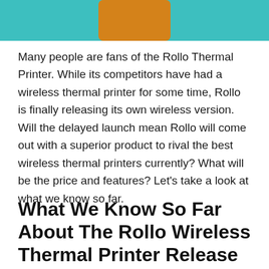[Figure (photo): Partial image showing a teal/turquoise background with an orange object (possibly a Rollo thermal printer box or character) at the top of the page.]
Many people are fans of the Rollo Thermal Printer. While its competitors have had a wireless thermal printer for some time, Rollo is finally releasing its own wireless version. Will the delayed launch mean Rollo will come out with a superior product to rival the best wireless thermal printers currently? What will be the price and features? Let's take a look at what we know so far.
What We Know So Far About The Rollo Wireless Thermal Printer Release